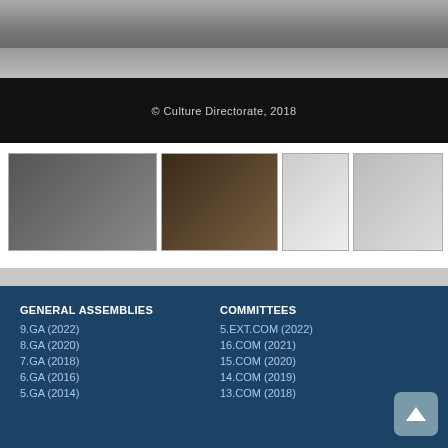[Figure (photo): Large photo of an indoor scene (warehouse/hall) in upper portion, with a black band below containing copyright text]
© Culture Directorate, 2018
[Figure (photo): Row of four thumbnail photos: musicians in a hall, guitar lesson with children, elderly man in cap, group of young men outdoors]
GENERAL ASSEMBLIES
9.GA (2022)
8.GA (2020)
7.GA (2018)
6.GA (2016)
5.GA (2014)
COMMITTEES
5.EXT.COM (2022)
16.COM (2021)
15.COM (2020)
14.COM (2019)
13.COM (2018)